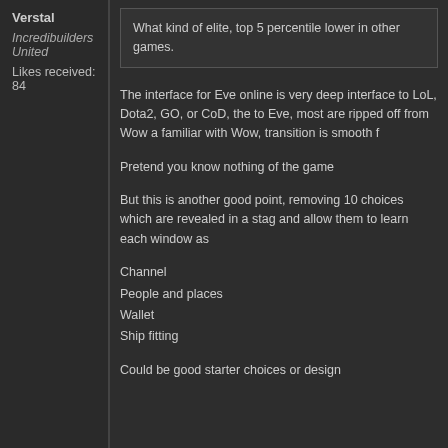Verstal
Incredibuilders United
Likes received: 84
What kind of elite, top 5 percentile lower in other games.
The interface for Eve online is very deep interface to LoL, Dota2, GO, or CoD, to Eve, most are ripped off from Wow a familiar with Wow, transition is smooth f
Pretend you know nothing of the game
But this is another good point, removing 10 choices which are revealed in a stag and allow them to learn each window as
Channel
People and places
Wallet
Ship fitting
Could be good starter choices or design